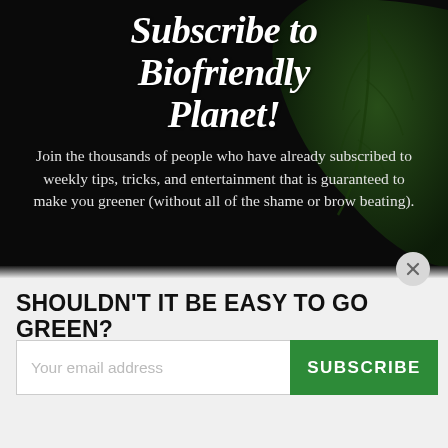Subscribe to Biofriendly Planet!
Join the thousands of people who have already subscribed to weekly tips, tricks, and entertainment that is guaranteed to make you greener (without all of the shame or brow beating).
SHOULDN'T IT BE EASY TO GO GREEN?
Subscribe now for simple tips, tricks and ideas to make this a cooler planet.
Your email address  SUBSCRIBE